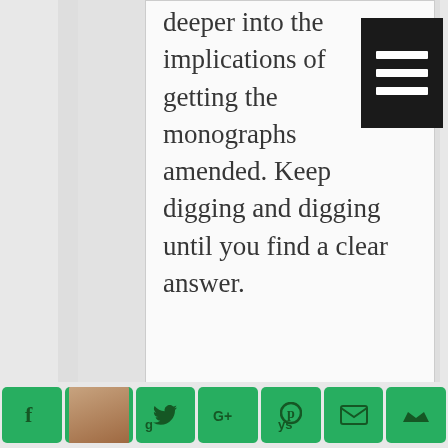deeper into the implications of getting the monographs amended. Keep digging and digging until you find a clear answer.
[Figure (other): Screenshot of a webpage with nested card layout, a black hamburger menu icon in top-right corner, article text content, and a green social sharing bar at the bottom with Facebook, Twitter, Google+, Pinterest, email, and bookmark icons.]